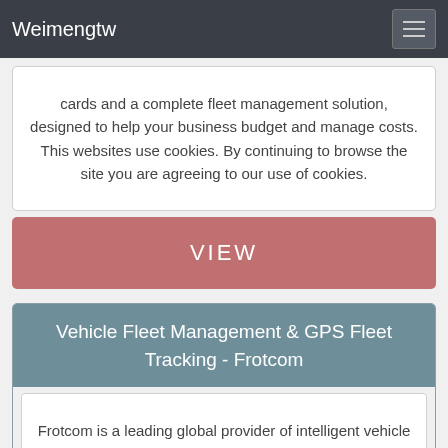Weimengtw
cards and a complete fleet management solution, designed to help your business budget and manage costs. This websites use cookies. By continuing to browse the site you are agreeing to our use of cookies.
VIEW
Vehicle Fleet Management & GPS Fleet Tracking - Frotcom
Frotcom is a leading global provider of intelligent vehicle fleet management and GPS tracking solutions, with a presence in more